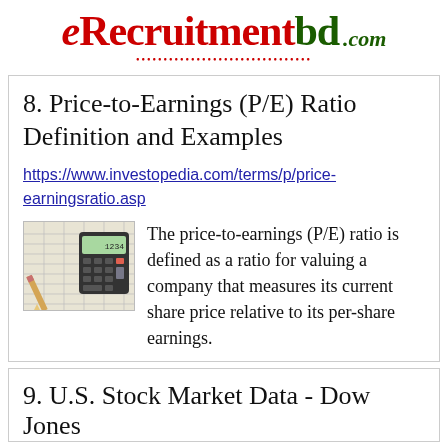[Figure (logo): eRecruitmentbd.com logo with red and green text and dotted underline]
8. Price-to-Earnings (P/E) Ratio Definition and Examples
https://www.investopedia.com/terms/p/price-earningsratio.asp
[Figure (photo): Photo of financial spreadsheet with calculator and pencil]
The price-to-earnings (P/E) ratio is defined as a ratio for valuing a company that measures its current share price relative to its per-share earnings.
9. U.S. Stock Market Data - Dow Jones